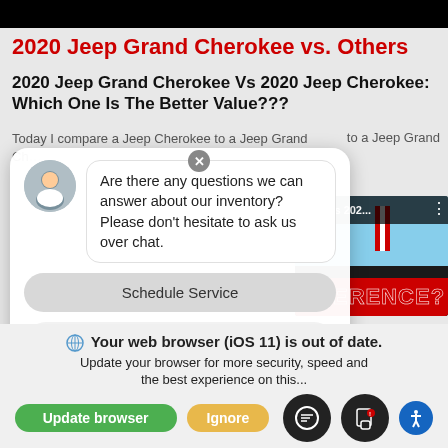2020 Jeep Grand Cherokee vs. Others
2020 Jeep Grand Cherokee Vs 2020 Jeep Cherokee: Which One Is The Better Value???
Today I compare a Jeep Cherokee to a Jeep Grand Ch...
[Figure (screenshot): Chat widget overlay with avatar, message bubble saying 'Are there any questions we can answer about our inventory? Please don't hesitate to ask us over chat.', Schedule Service button, and Enter your message input field.]
[Figure (screenshot): Video thumbnail showing 'okee Vs 202...' text with vertical dots menu and red text 'IFFERENCE?' on dark background with flag.]
website and our service.
Your web browser (iOS 11) is out of date. Update your browser for more security, speed and the best experience on this...
[Figure (screenshot): Update browser button (green) and Ignore button (yellow/orange) with chat and message circle icon buttons and accessibility icon.]